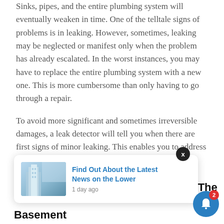Sinks, pipes, and the entire plumbing system will eventually weaken in time. One of the telltale signs of problems is in leaking. However, sometimes, leaking may be neglected or manifest only when the problem has already escalated. In the worst instances, you may have to replace the entire plumbing system with a new one. This is more cumbersome than only having to go through a repair.
To avoid more significant and sometimes irreversible damages, a leak detector will tell you when there are first signs of minor leaking. This enables you to address the plumbing problem before it gets too severe.
[Figure (screenshot): A notification popup card with a building image thumbnail on the left and blue linked text reading 'Find Out About the Latest News on the Lower' with timestamp '1 day ago', overlaid with an X close button circle. A blue notification bell icon with red badge showing '2' appears in the bottom right.]
Basement